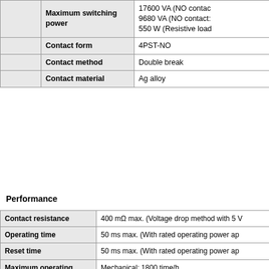|  | Parameter | Value |
| --- | --- | --- |
|  | Maximum switching power | 17600 VA (NO contact)
9680 VA (NO contact):
550 W (Resistive load) |
|  | Contact form | 4PST-NO |
|  | Contact method | Double break |
|  | Contact material | Ag alloy |
Performance
| Parameter | Value |
| --- | --- |
| Contact resistance | 400 mΩ max. (Voltage drop method with 5 V... |
| Operating time | 50 ms max. (With rated operating power ap... |
| Reset time | 50 ms max. (With rated operating power ap... |
| Maximum operating frequency | Mechanical: 1800 time/h
Rated load: 1200 time/h |
| Insulation resistance | Between coil and contacts: 1000 MΩ min. (a...
Between contacts of different polarity: 1000...
Between contacts of same polarity: 1000 M... |
| Dielectric strength | Between coil and contacts: 4000 VAC 50/60...
Between contacts of different polarity: 4000...
Between contacts of same polarity: 2000 VA... |
| Vibration resistance (destruction) | 10 to 55 to 10 Hz, 0.5-mm single amplitude... |
| Vibration resistance | 10 to 55 to 10 Hz, 0.5-mm single amplitude... |